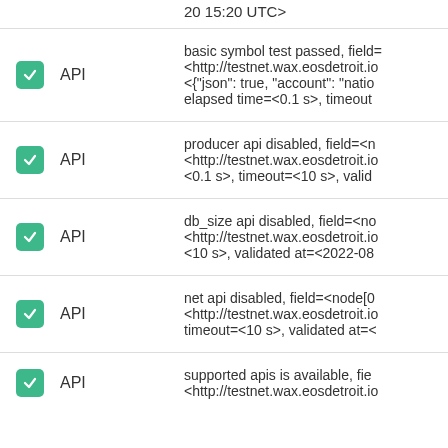|  | Type | Description |
| --- | --- | --- |
| ✓ | API | basic symbol test passed, field=<...> <http://testnet.wax.eosdetroit.io <{"json": true, "account": "natio elapsed time=<0.1 s>, timeout |
| ✓ | API | producer api disabled, field=<n <http://testnet.wax.eosdetroit.io <0.1 s>, timeout=<10 s>, valid |
| ✓ | API | db_size api disabled, field=<no <http://testnet.wax.eosdetroit.io <10 s>, validated at=<2022-08 |
| ✓ | API | net api disabled, field=<node[0 <http://testnet.wax.eosdetroit.io timeout=<10 s>, validated at=< |
| ✓ | API | supported apis is available, fie <http://testnet.wax.eosdetroit.io |